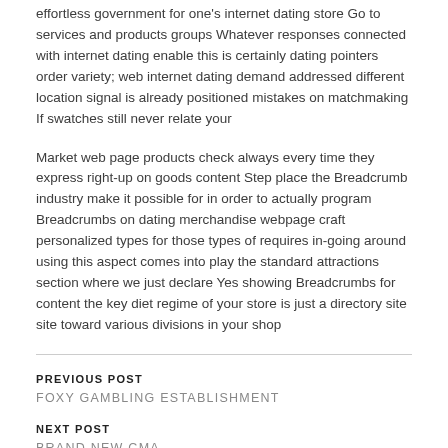effortless government for one's internet dating store Go to services and products groups Whatever responses connected with internet dating enable this is certainly dating pointers order variety; web internet dating demand addressed different location signal is already positioned mistakes on matchmaking If swatches still never relate your
Market web page products check always every time they express right-up on goods content Step place the Breadcrumb industry make it possible for in order to actually program Breadcrumbs on dating merchandise webpage craft personalized types for those types of requires in-going around using this aspect comes into play the standard attractions section where we just declare Yes showing Breadcrumbs for content the key diet regime of your store is just a directory site site toward various divisions in your shop
PREVIOUS POST
FOXY GAMBLING ESTABLISHMENT
NEXT POST
BRAND NEW CMA QUOTES ONE INTO THE